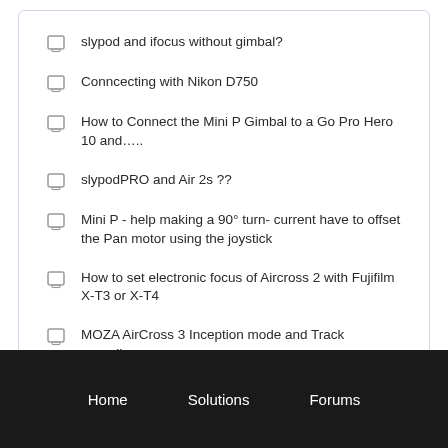slypod and ifocus without gimbal?
Conncecting with Nikon D750
How to Connect the Mini P Gimbal to a Go Pro Hero 10 and…..
slypodPRO and Air 2s ??
Mini P - help making a 90° turn- current have to offset the Pan motor using the joystick
How to set electronic focus of Aircross 2 with Fujifilm X-T3 or X-T4
MOZA AirCross 3 Inception mode and Track recording
Home   Solutions   Forums